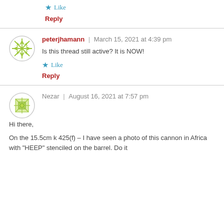★ Like
Reply
peterjhamann | March 15, 2021 at 4:39 pm
Is this thread still active? It is NOW!
★ Like
Reply
Nezar | August 16, 2021 at 7:57 pm
Hi there,
On the 15.5cm k 425(f) – I have seen a photo of this cannon in Africa with "HEEP" stenciled on the barrel. Do it